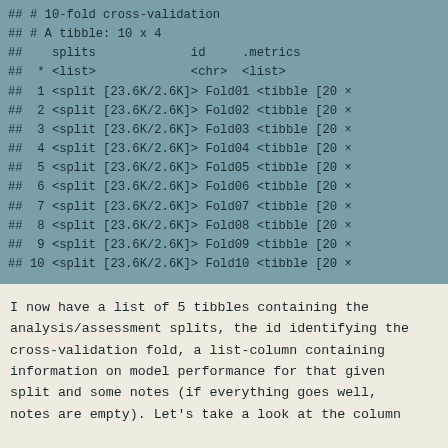[Figure (screenshot): R console output showing a 10x4 tibble from 10-fold cross-validation with columns splits, id, and .metrics]
I now have a list of 5 tibbles containing the analysis/assessment splits, the id identifying the cross-validation fold, a list-column containing information on model performance for that given split and some notes (if everything goes well, notes are empty). Let's take a look at the column